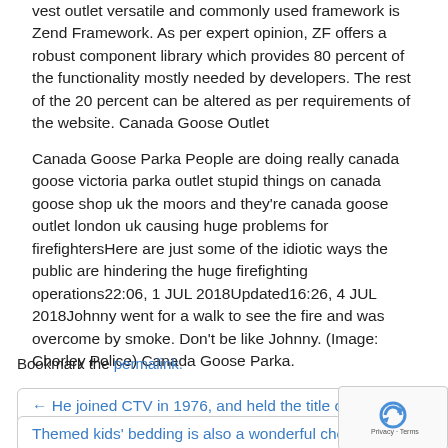vest outlet versatile and commonly used framework is Zend Framework. As per expert opinion, ZF offers a robust component library which provides 80 percent of the functionality mostly needed by developers. The rest of the 20 percent can be altered as per requirements of the website. Canada Goose Outlet
Canada Goose Parka People are doing really canada goose victoria parka outlet stupid things on canada goose shop uk the moors and they're canada goose outlet london uk causing huge problems for firefightersHere are just some of the idiotic ways the public are hindering the huge firefighting operations22:06, 1 JUL 2018Updated16:26, 4 JUL 2018Johnny went for a walk to see the fire and was overcome by smoke. Don't be like Johnny. (Image: Chorley Police) Canada Goose Parka.
Bookmark the permalink.
← He joined CTV in 1976, and held the title of CTV's Ch
Themed kids' bedding is also a wonderful choice of a g